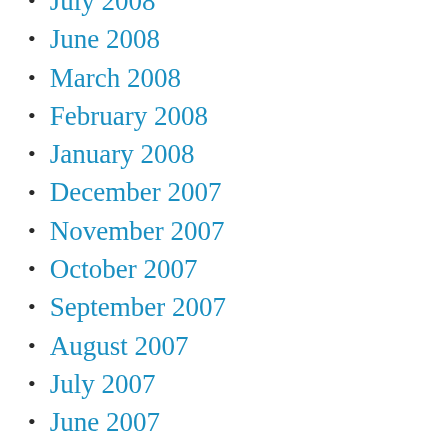July 2008
June 2008
March 2008
February 2008
January 2008
December 2007
November 2007
October 2007
September 2007
August 2007
July 2007
June 2007
May 2007
April 2007
March 2007
February 2007